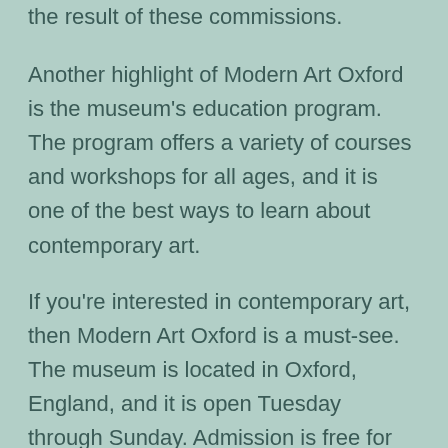the result of these commissions.
Another highlight of Modern Art Oxford is the museum's education program. The program offers a variety of courses and workshops for all ages, and it is one of the best ways to learn about contemporary art.
If you're interested in contemporary art, then Modern Art Oxford is a must-see. The museum is located in Oxford, England, and it is open Tuesday through Sunday. Admission is free for all visitors.
The Oxford University Bate